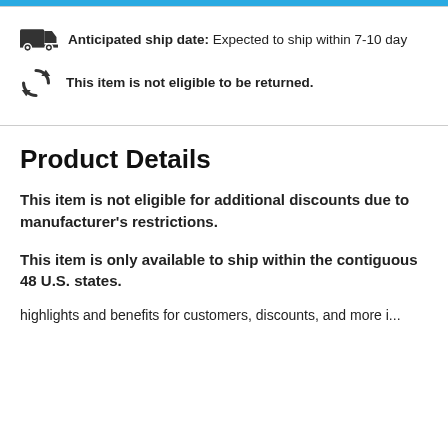Anticipated ship date: Expected to ship within 7-10 day
This item is not eligible to be returned.
Product Details
This item is not eligible for additional discounts due to manufacturer's restrictions.
This item is only available to ship within the contiguous 48 U.S. states.
highlights and benefits for customers, discounts, and more i...